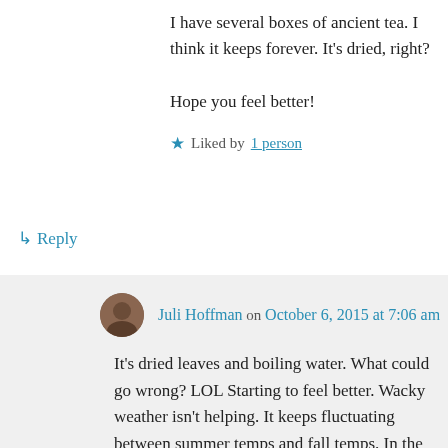I have several boxes of ancient tea. I think it keeps forever. It's dried, right?

Hope you feel better!
★ Liked by 1 person
↳ Reply
Juli Hoffman on October 6, 2015 at 7:06 am
It's dried leaves and boiling water. What could go wrong? LOL Starting to feel better. Wacky weather isn't helping. It keeps fluctuating between summer temps and fall temps. In the same week, I used the air conditioning and the heat in my car. Gesh!